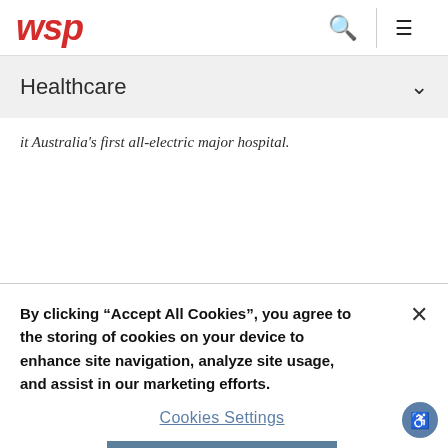WSP | Healthcare
Healthcare
it Australia's first all-electric major hospital.
By clicking “Accept All Cookies”, you agree to the storing of cookies on your device to enhance site navigation, analyze site usage, and assist in our marketing efforts.
Cookies Settings
Accept All Cookies